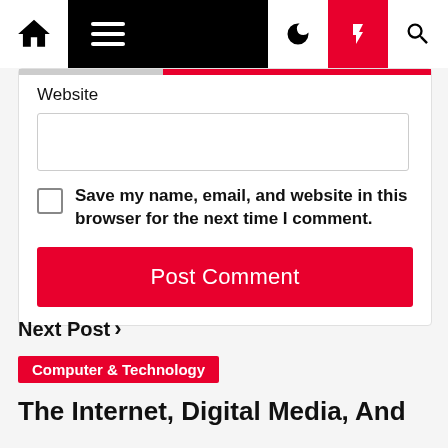[Figure (screenshot): Website navigation bar with home icon, hamburger menu, dark/night mode icon, lightning bolt icon (red background), and search icon]
Website
[Figure (screenshot): Empty text input field for website URL]
Save my name, email, and website in this browser for the next time I comment.
Post Comment
Next Post ›
Computer & Technology
The Internet, Digital Media, And